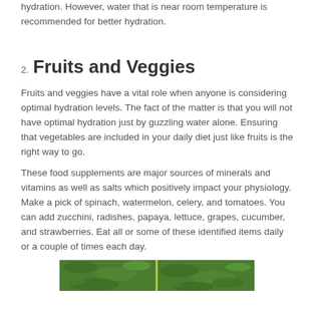hydration. However, water that is near room temperature is recommended for better hydration.
2. Fruits and Veggies
Fruits and veggies have a vital role when anyone is considering optimal hydration levels. The fact of the matter is that you will not have optimal hydration just by guzzling water alone. Ensuring that vegetables are included in your daily diet just like fruits is the right way to go.
These food supplements are major sources of minerals and vitamins as well as salts which positively impact your physiology. Make a pick of spinach, watermelon, celery, and tomatoes. You can add zucchini, radishes, papaya, lettuce, grapes, cucumber, and strawberries. Eat all or some of these identified items daily or a couple of times each day.
[Figure (photo): Photo of leafy green vegetables split into two panels]